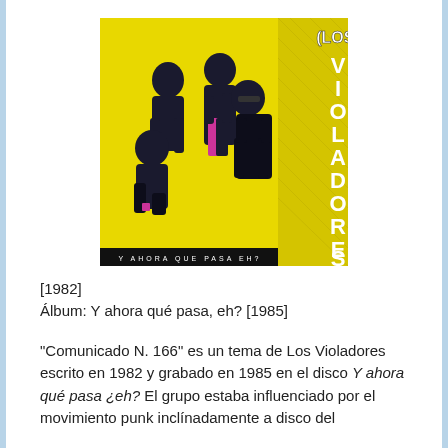[Figure (photo): Album cover of Los Violadores 'Y ahora qué pasa, eh?' showing four band members posed against a yellow background with the band name on the right side and the album title text at the bottom: Y AHORA QUE PASA EH?]
[1982]
Álbum: Y ahora qué pasa, eh? [1985]
"Comunicado N. 166" es un tema de Los Violadores escrito en 1982 y grabado en 1985 en el disco Y ahora qué pasa ¿eh? El grupo estaba influenciado por el movimiento punk inclínamiento a disco del